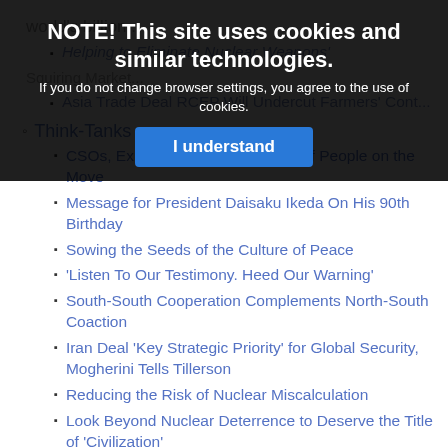NOTE! This site uses cookies and similar technologies. If you do not change browser settings, you agree to the use of cookies. I understand
Think-Tanks
CSOs, Experts Address the Plight of People on the Move
Message for President Daisaku Ikeda On His 90th Birthday
Sowing the Seeds of the Culture of Peace
'Listen To Our Testimony. Heed Our Warning'
South-South Cooperation Complements North-South Coaction
Iran Deal 'Key Strategic Priority' for Global Security, Mogherini Tells Tillerson
Reducing the Risk of Nuclear Miscalculation
Look Beyond Nuclear Deterrence to Deserve the Title of 'Civilization'